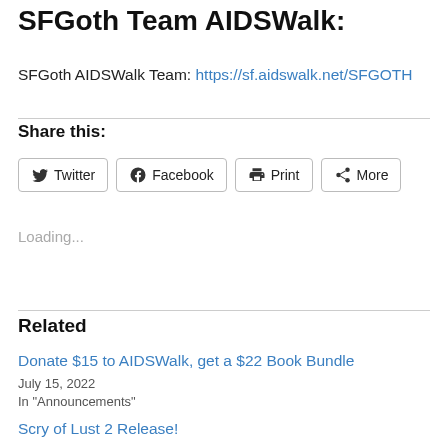SFGoth Team AIDSWalk:
SFGoth AIDSWalk Team: https://sf.aidswalk.net/SFGOTH
Share this:
Twitter  Facebook  Print  More
Loading...
Related
Donate $15 to AIDSWalk, get a $22 Book Bundle
July 15, 2022
In "Announcements"
Scry of Lust 2 Release!